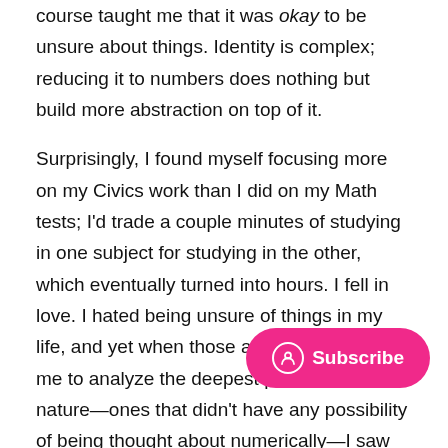course taught me that it was okay to be unsure about things. Identity is complex; reducing it to numbers does nothing but build more abstraction on top of it.
Surprisingly, I found myself focusing more on my Civics work than I did on my Math tests; I'd trade a couple minutes of studying in one subject for studying in the other, which eventually turned into hours. I fell in love. I hated being unsure of things in my life, and yet when those assignments asked me to analyze the deepest parts of human nature—ones that didn't have any possibility of being thought about numerically—I saw myself happier than ever.
In the next semester, I finally got over my fear of English, and understood what it was like to think about